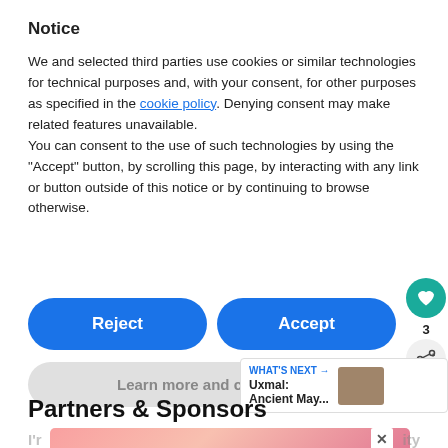Notice
We and selected third parties use cookies or similar technologies for technical purposes and, with your consent, for other purposes as specified in the cookie policy. Denying consent may make related features unavailable.
You can consent to the use of such technologies by using the “Accept” button, by scrolling this page, by interacting with any link or button outside of this notice or by continuing to browse otherwise.
[Figure (screenshot): Reject and Accept buttons (blue, rounded), Learn more and customize button (gray), side heart icon (teal) with count 3, share icon]
[Figure (screenshot): WHAT'S NEXT card showing Uxmal: Ancient May... with thumbnail image]
Partners & Sponsors
[Figure (screenshot): Advertisement banner with text: Actions speak louder than words. with close button X and logo]